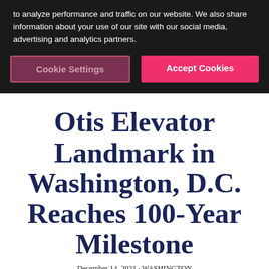to analyze performance and traffic on our website. We also share information about your use of our site with our social media, advertising and analytics partners.
Cookie Settings
Accept Cookies
Otis Elevator Landmark in Washington, D.C. Reaches 100-Year Milestone
December 14, 2021 • WASHINGTON